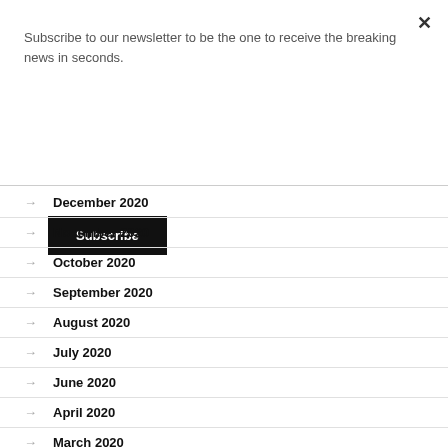Subscribe to our newsletter to be the one to receive the breaking news in seconds.
Subscribe
December 2020
November 2020
October 2020
September 2020
August 2020
July 2020
June 2020
April 2020
March 2020
February 2020
November 2019